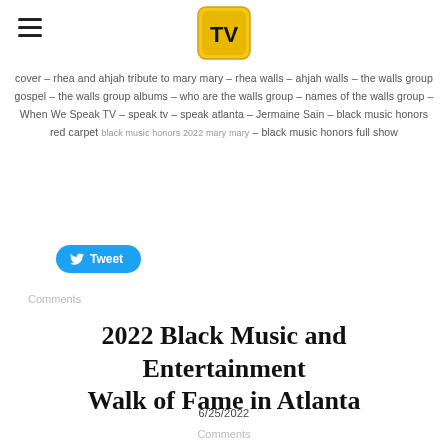When We Speak TV logo and hamburger menu
cover – rhea and ahjah tribute to mary mary – rhea walls – ahjah walls – the walls group gospel – the walls group albums – who are the walls group – names of the walls group – When We Speak TV – speak tv – speak atlanta – Jermaine Sain – black music honors red carpet black music honors 2022 mary mary – black music honors full show
Tweet
Comments
2022 Black Music and Entertainment Walk of Fame in Atlanta
6/25/2022
Comments